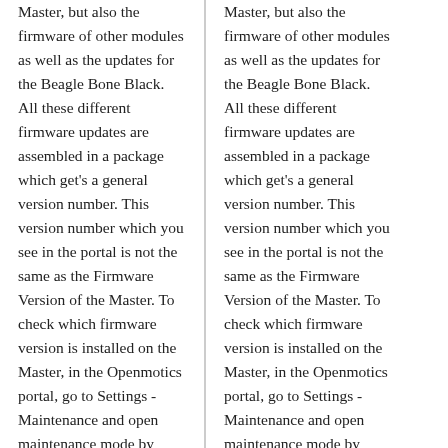Master, but also the firmware of other modules as well as the updates for the Beagle Bone Black. All these different firmware updates are assembled in a package which get's a general version number. This version number which you see in the portal is not the same as the Firmware Version of the Master. To check which firmware version is installed on the Master, in the Openmotics portal, go to Settings - Maintenance and open maintenance mode by pressing the Connect button. Type the instruction <code>firmware version</code> to read the Master Firmware version.
Master, but also the firmware of other modules as well as the updates for the Beagle Bone Black. All these different firmware updates are assembled in a package which get's a general version number. This version number which you see in the portal is not the same as the Firmware Version of the Master. To check which firmware version is installed on the Master, in the Openmotics portal, go to Settings - Maintenance and open maintenance mode by pressing the Connect button. Type the instruction <code>firmware version</code> to read the Master Firmware version.